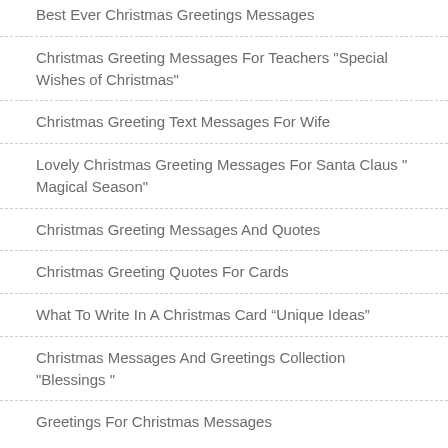Best Ever Christmas Greetings Messages
Christmas Greeting Messages For Teachers "Special Wishes of Christmas"
Christmas Greeting Text Messages For Wife
Lovely Christmas Greeting Messages For Santa Claus " Magical Season"
Christmas Greeting Messages And Quotes
Christmas Greeting Quotes For Cards
What To Write In A Christmas Card “Unique Ideas”
Christmas Messages And Greetings Collection "Blessings "
Greetings For Christmas Messages